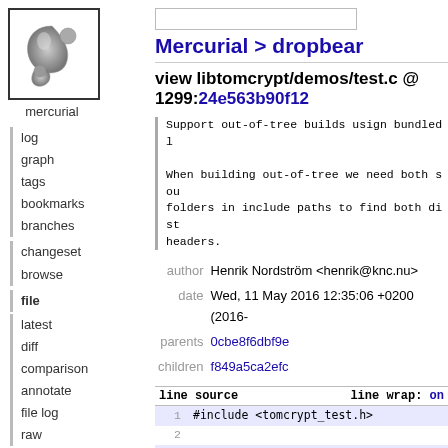[Figure (logo): Mercurial logo - grey comma-like spiral shape with circular elements, labeled 'mercurial' below]
log
graph
tags
bookmarks
branches
changeset
browse
file
latest
diff
comparison
annotate
file log
raw
Mercurial > dropbear
view libtomcrypt/demos/test.c @ 1299:24e563b90f12
Support out-of-tree builds usign bundled l

When building out-of-tree we need both sou
folders in include paths to find both dist
headers.
author Henrik Nordström <henrik@knc.nu>
date Wed, 11 May 2016 12:35:06 +0200 (2016-
parents 0cbe8f6dbf9e
children f849a5ca2efc
| line | source | line wrap: |
| --- | --- | --- |
| 1 | #include <tomcrypt_test.h> |  |
| 2 |  |  |
| 3 | int main(void) |  |
| 4 | { |  |
| 5 |     int x; |  |
| 6 |     reg_algs(); |  |
| 7 |  |  |